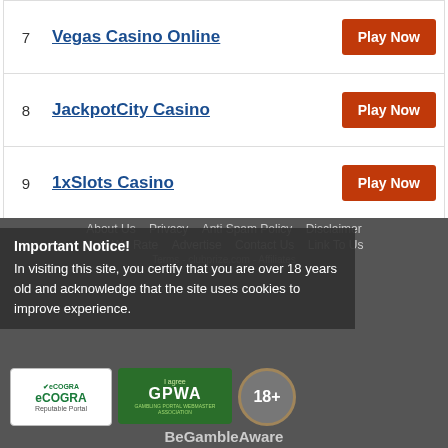7  Vegas Casino Online  Play Now
8  JackpotCity Casino  Play Now
9  1xSlots Casino  Play Now
About Us  Privacy  Anti Spam Policy  Disclaimer  How We Rate  Advertise  Contact Us  Link To Us  Terms - clubprize.com - Affiliates
Important Notice!
In visiting this site, you certify that you are over 18 years old and acknowledge that the site uses cookies to improve experience.
[Figure (logo): eCOGRA Reputable Portal badge, GPWA Lagree badge, 18+ badge]
BeGambleAware